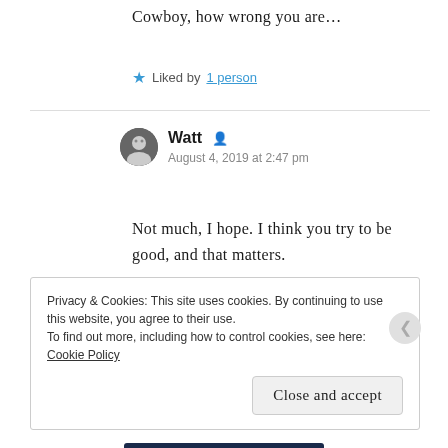Cowboy, how wrong you are…
★ Liked by 1 person
Watt  August 4, 2019 at 2:47 pm
Not much, I hope. I think you try to be good, and that matters.
★ Liked by 1 person
Privacy & Cookies: This site uses cookies. By continuing to use this website, you agree to their use. To find out more, including how to control cookies, see here: Cookie Policy
Close and accept